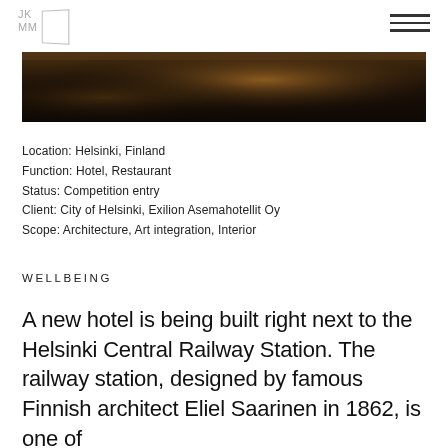JK MM
[Figure (photo): Dark atmospheric interior photograph of Helsinki Central Railway Station, showing stone floor with light rays]
Location: Helsinki, Finland
Function: Hotel, Restaurant
Status: Competition entry
Client: City of Helsinki, Exilion Asemahotellit Oy
Scope: Architecture, Art integration, Interior
WELLBEING
A new hotel is being built right next to the Helsinki Central Railway Station. The railway station, designed by famous Finnish architect Eliel Saarinen in 1862, is one of